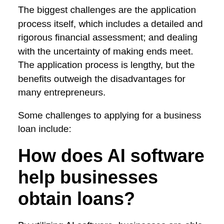The biggest challenges are the application process itself, which includes a detailed and rigorous financial assessment; and dealing with the uncertainty of making ends meet. The application process is lengthy, but the benefits outweigh the disadvantages for many entrepreneurs.
Some challenges to applying for a business loan include:
How does AI software help businesses obtain loans?
By utilizing AI software, businesses are able to automate the process of applying for loans from potential lenders. They can apply for loans in a more customized way, have their loan application automatically reviewed by an algorithm to identify errors, and have it returned to them for review.